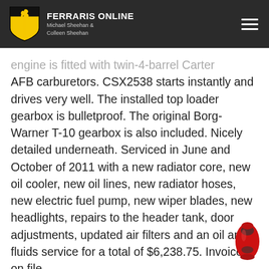FERRARIS ONLINE — Michael Sheehan & Colleen Sheehan
engine is fitted with twin-4-barrel Carter AFB carburetors. CSX2538 starts instantly and drives very well. The installed top loader gearbox is bulletproof. The original Borg-Warner T-10 gearbox is also included. Nicely detailed underneath. Serviced in June and October of 2011 with a new radiator core, new oil cooler, new oil lines, new radiator hoses, new electric fuel pump, new wiper blades, new headlights, repairs to the header tank, door adjustments, updated air filters and an oil and fluids service for a total of $6,238.75. Invoices on file.